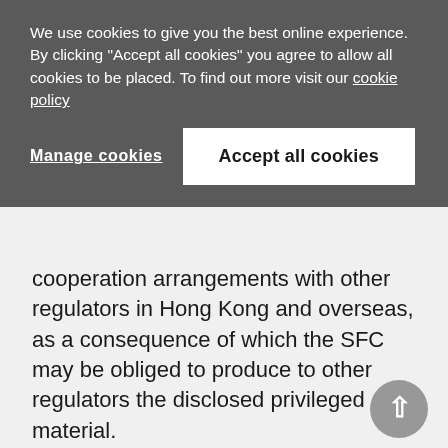We use cookies to give you the best online experience. By clicking "Accept all cookies" you agree to allow all cookies to be placed. To find out more visit our cookie policy
Manage cookies
Accept all cookies
cooperation arrangements with other regulators in Hong Kong and overseas, as a consequence of which the SFC may be obliged to produce to other regulators the disclosed privileged material.
Three cases, Rockefeller & Co Inc v. Secretary for Justice,36 James Daniel O'Donnell v. Lehman Brothers Asia Ltd (In Liq)37 and CITIC Pacific Ltd v. Secretary for Justice and Commissioner of Police,38 have explored the